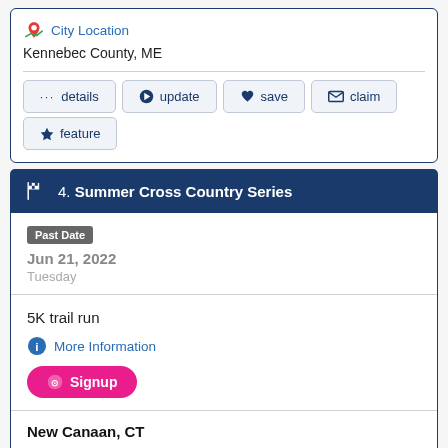[Figure (logo): Google Maps pin icon]
City Location
Kennebec County, ME
... details
→ update
♥ save
✉ claim
★ feature
4. Summer Cross Country Series
Past Date
Jun 21, 2022
Tuesday
5K trail run
More Information
Signup
New Canaan, CT
City Location
Fairfield County, CT